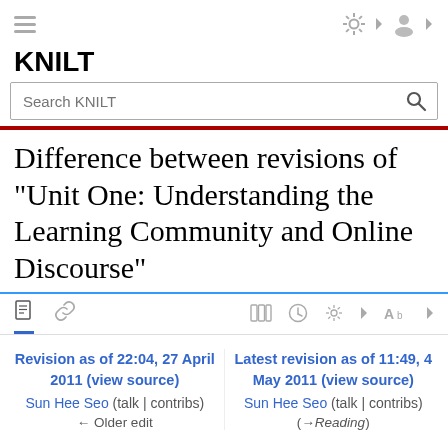KNILT
Difference between revisions of "Unit One: Understanding the Learning Community and Online Discourse"
Revision as of 22:04, 27 April 2011 (view source) Sun Hee Seo (talk | contribs) ← Older edit
Latest revision as of 11:49, 4 May 2011 (view source) Sun Hee Seo (talk | contribs) (→Reading)